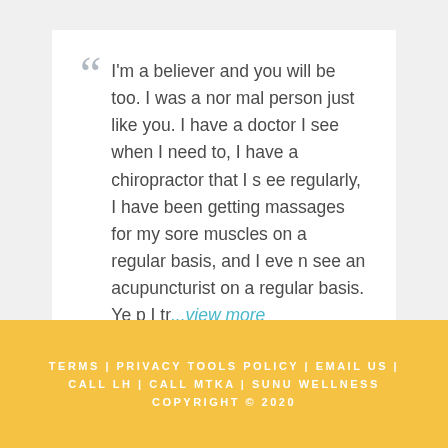I'm a believer and you will be too. I was a normal person just like you. I have a doctor I see when I need to, I have a chiropractor that I see regularly, I have been getting massages for my sore muscles on a regular basis, and I even see an acupuncturist on a regular basis. Yep I tr...view more
Larry J.
TERMS | PRIVACY TOOLS POLICY | EMAIL US | CALL LH | CALL MTKA | SUNU WELLNESS COPYRIGHT © 2020